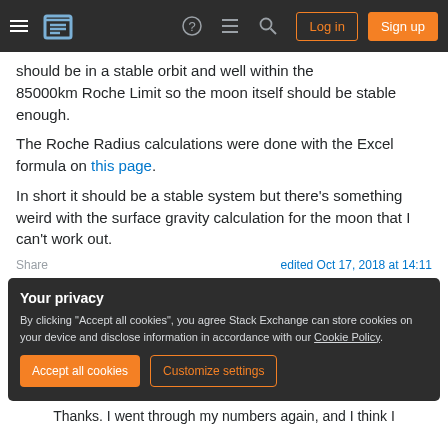Stack Exchange navigation bar with hamburger menu, logo, help, chat, search icons, Log in and Sign up buttons
should be in a stable orbit and well within the 85000km Roche Limit so the moon itself should be stable enough.
The Roche Radius calculations were done with the Excel formula on this page.
In short it should be a stable system but there's something weird with the surface gravity calculation for the moon that I can't work out.
Share    edited Oct 17, 2018 at 14:11
Your privacy
By clicking "Accept all cookies", you agree Stack Exchange can store cookies on your device and disclose information in accordance with our Cookie Policy.
Accept all cookies    Customize settings
Thanks. I went through my numbers again, and I think I